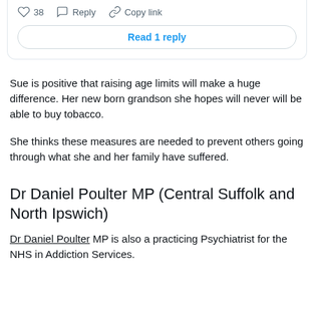[Figure (screenshot): Tweet interaction bar showing heart icon with 38 likes, Reply button, Copy link button, and a 'Read 1 reply' button below]
Sue is positive that raising age limits will make a huge difference. Her new born grandson she hopes will never will be able to buy tobacco.
She thinks these measures are needed to prevent others going through what she and her family have suffered.
Dr Daniel Poulter MP (Central Suffolk and North Ipswich)
Dr Daniel Poulter MP is also a practicing Psychiatrist for the NHS in Addiction Services.